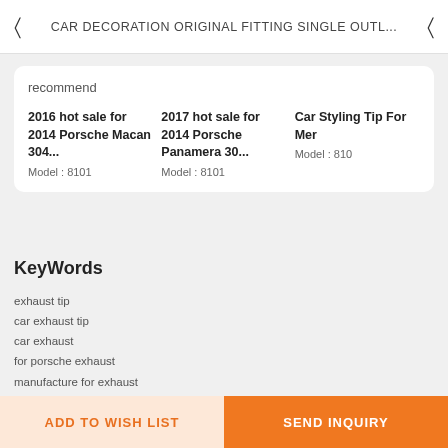CAR DECORATION ORIGINAL FITTING SINGLE OUTL...
recommend
2016 hot sale for 2014 Porsche Macan 304...
Model : 8101
2017 hot sale for 2014 Porsche Panamera 30...
Model : 8101
Car Styling Tip For Mer
Model : 810
KeyWords
exhaust tip
car exhaust tip
car exhaust
for porsche exhaust
manufacture for exhaust
hot sale exhaust tip
ADD TO WISH LIST
SEND INQUIRY